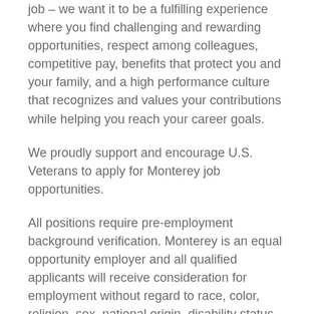job – we want it to be a fulfilling experience where you find challenging and rewarding opportunities, respect among colleagues, competitive pay, benefits that protect you and your family, and a high performance culture that recognizes and values your contributions while helping you reach your career goals.
We proudly support and encourage U.S. Veterans to apply for Monterey job opportunities.
All positions require pre-employment background verification. Monterey is an equal opportunity employer and all qualified applicants will receive consideration for employment without regard to race, color, religion, sex, national origin, disability status, protected veteran status, or any other characteristic protected by law.
Please Email Your